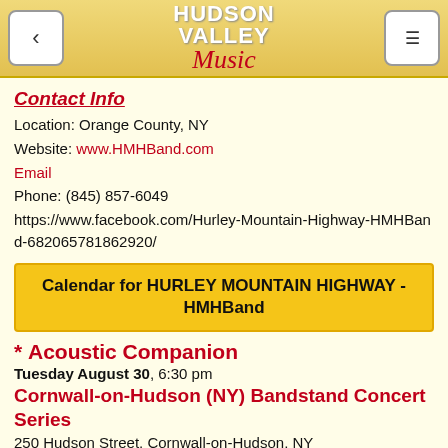Hudson Valley Music
Contact Info
Location: Orange County, NY
Website: www.HMHBand.com
Email
Phone: (845) 857-6049
https://www.facebook.com/Hurley-Mountain-Highway-HMHBand-682065781862920/
Calendar for HURLEY MOUNTAIN HIGHWAY - HMHBand
* Acoustic Companion
Tuesday August 30, 6:30 pm
Cornwall-on-Hudson (NY) Bandstand Concert Series
250 Hudson Street, Cornwall-on-Hudson, NY
Hurley Mountain Highway - HMHBand
Sunday September 4, 12:00 pm
41st Annual Woodstock New Paltz Arts & Crafts